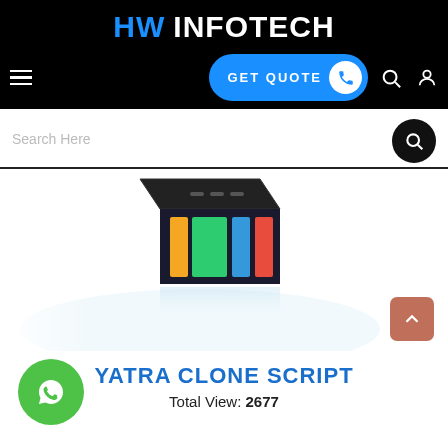HW INFOTECH
[Figure (screenshot): GET QUOTE button with phone icon, search icon, and user icon in navigation bar]
Search Here
[Figure (photo): Yatra clone script product image showing a dark device/tablet with colorful app interface]
[Figure (logo): WhatsApp logo green circle with phone handset icon]
YATRA CLONE SCRIPT
Total View: 2677